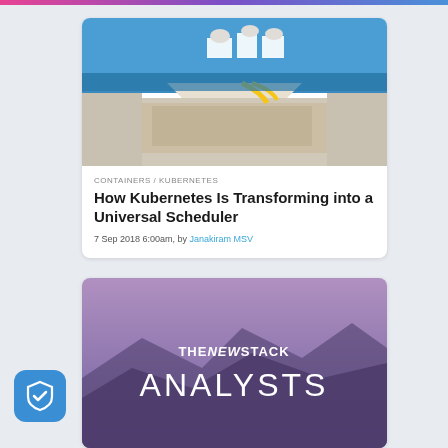[Figure (photo): Aerial view of a cruise ship deck crowded with passengers, with the ocean in the background and blue sky above]
CONTAINERS / KUBERNETES
How Kubernetes Is Transforming into a Universal Scheduler
7 Sep 2018 6:00am, by Janakiram MSV
[Figure (illustration): The New Stack Analysts banner with mountain landscape background in purple/mauve tones]